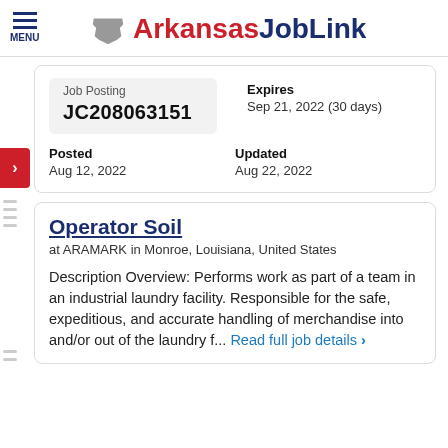Arkansas JobLink
Job Posting JC208063151
Expires Sep 21, 2022 (30 days)
Posted Aug 12, 2022
Updated Aug 22, 2022
Operator Soil
at ARAMARK in Monroe, Louisiana, United States
Description Overview: Performs work as part of a team in an industrial laundry facility. Responsible for the safe, expeditious, and accurate handling of merchandise into and/or out of the laundry f... Read full job details >